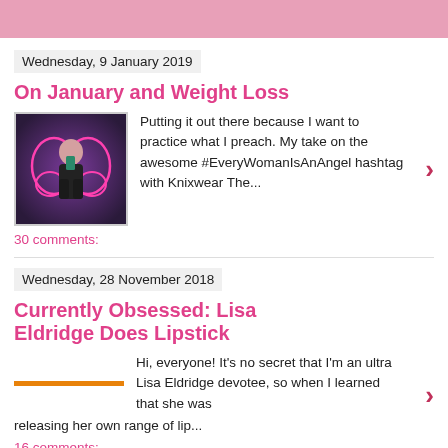Wednesday, 9 January 2019
On January and Weight Loss
Putting it out there because I want to practice what I preach. My take on the awesome #EveryWomanIsAnAngel hashtag with Knixwear The...
30 comments:
Wednesday, 28 November 2018
Currently Obsessed: Lisa Eldridge Does Lipstick
Hi, everyone! It's no secret that I'm an ultra Lisa Eldridge devotee, so when I learned that she was releasing her own range of lip...
16 comments:
Wednesday, 21 November 2018